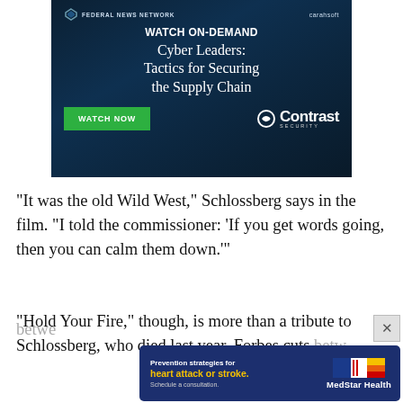[Figure (screenshot): Advertisement banner: WATCH ON-DEMAND - Cyber Leaders: Tactics for Securing the Supply Chain. Shows 'WATCH NOW' green button and Contrast Security logo on dark blue/teal background.]
“It was the old Wild West,” Schlossberg says in the film. “I told the commissioner: ‘If you get words going, then you can calm them down.’”
“Hold Your Fire,” though, is more than a tribute to Schlossberg, who died last year. Forbes cuts betw[een] ... ll of
[Figure (screenshot): Advertisement banner: Prevention strategies for heart attack or stroke. Schedule a consultation. MedStar Health logo on dark blue background.]